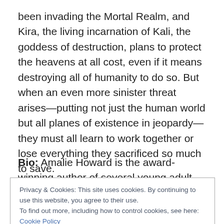been invading the Mortal Realm, and Kira, the living incarnation of Kali, the goddess of destruction, plans to protect the heavens at all cost, even if it means destroying all of humanity to do so. But when an even more sinister threat arises—putting not just the human world but all planes of existence in jeopardy—they must all learn to work together or lose everything they sacrificed so much to save.
Bio: Amalie Howard is the award-winning author of several young adult novels critically acclaimed by Kirkus,
Privacy & Cookies: This site uses cookies. By continuing to use this website, you agree to their use.
To find out more, including how to control cookies, see here: Cookie Policy